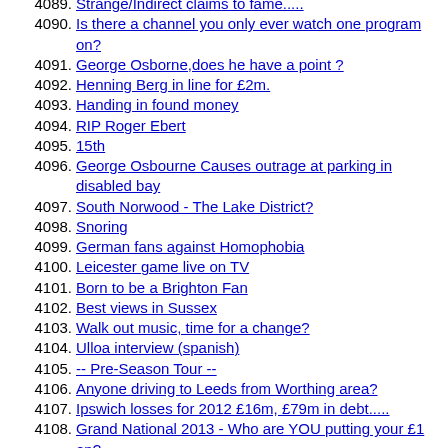4089. Strange/Indirect claims to fame.....
4090. Is there a channel you only ever watch one program on?
4091. George Osborne,does he have a point ?
4092. Henning Berg in line for £2m.
4093. Handing in found money
4094. RIP Roger Ebert
4095. 15th
4096. George Osbourne Causes outrage at parking in disabled bay
4097. South Norwood - The Lake District?
4098. Snoring
4099. German fans against Homophobia
4100. Leicester game live on TV
4101. Born to be a Brighton Fan
4102. Best views in Sussex
4103. Walk out music, time for a change?
4104. Ulloa interview (spanish)
4105. -- Pre-Season Tour --
4106. Anyone driving to Leeds from Worthing area?
4107. Ipswich losses for 2012 £16m, £79m in debt.....
4108. Grand National 2013 - Who are YOU putting your £1 on?
4109. How many points out of the next 6 games to get a play off place?
4110. Tom Ince worth 25M?
4111. Burglar alarms
4112. Is tomorrow's match the biggest of Gus' tenure so far??
4113. bets for the week-end
4114. Wes Morgan – Leicester